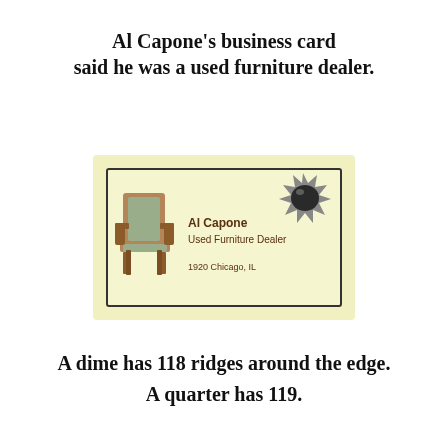Al Capone's business card said he was a used furniture dealer.
[Figure (illustration): A business card illustration showing 'Al Capone, Used Furniture Dealer, 1920 Chicago, IL' with a chair image on the left and a bullet hole graphic on the top right, on a light yellow background with a dark border.]
A dime has 118 ridges around the edge. A quarter has 119.